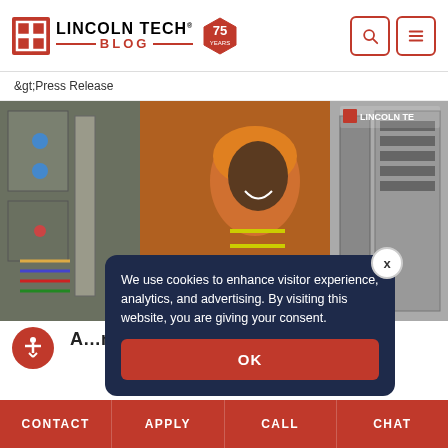Lincoln Tech Blog — 75 Years
&gt;Press Release
[Figure (photo): A smiling worker in an orange hard hat and safety vest standing in front of an electrical control panel. Lincoln Tech logo visible in upper right corner of image.]
We use cookies to enhance visitor experience, analytics, and advertising. By visiting this website, you are giving your consent.
OK
CONTACT   APPLY   CALL   CHAT